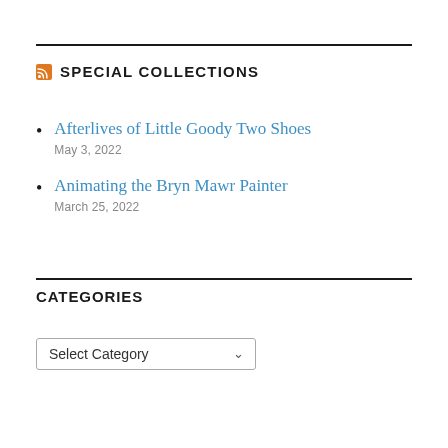SPECIAL COLLECTIONS
Afterlives of Little Goody Two Shoes
May 3, 2022
Animating the Bryn Mawr Painter
March 25, 2022
CATEGORIES
Select Category